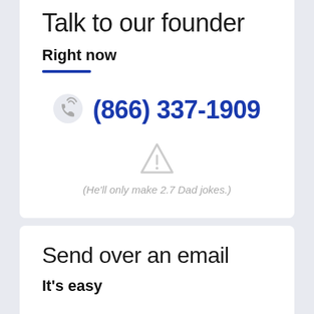Talk to our founder
Right now
(866) 337-1909
(He'll only make 2.7 Dad jokes.)
Send over an email
It's easy